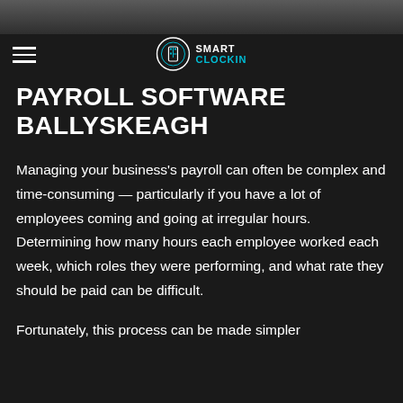[Figure (photo): Dark photographic banner image at top of page, partially visible]
Smart ClockIn logo and navigation menu
PAYROLL SOFTWARE BALLYSKEAGH
Managing your business's payroll can often be complex and time-consuming — particularly if you have a lot of employees coming and going at irregular hours. Determining how many hours each employee worked each week, which roles they were performing, and what rate they should be paid can be difficult.
Fortunately, this process can be made simpler